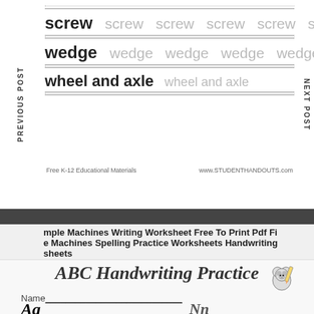screw  screw  screw  screw  screw  screw
wedge  wedge  wedge  wedge  wedge
wheel and axle  wheel and axle
Free K-12 Educational Materials    www.STUDENTHANDOUTS.com
PREVIOUS POST
NEXT POST
mple Machines Writing Worksheet Free To Print Pdf Fi
e Machines Spelling Practice Worksheets Handwriting
sheets
ABC Handwriting Practice
Name___________________________
Aa
Nn